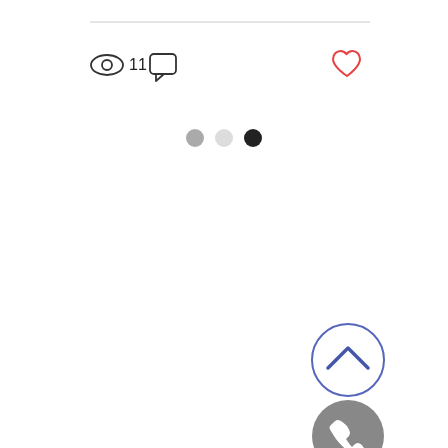[Figure (screenshot): UI screenshot showing a top horizontal divider line, then an icon bar with an eye icon with count '11', a chat bubble icon, and a red heart icon on the right. Below that are three pagination dots (gray, light gray, black). In the lower right area are two circular buttons: one with a blue chevron-up arrow (outlined circle), and one with a white phone icon on a dark gray filled circle.]